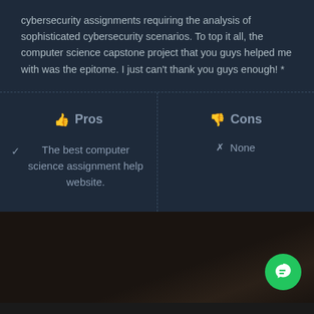cybersecurity assignments requiring the analysis of sophisticated cybersecurity scenarios. To top it all, the computer science capstone project that you guys helped me with was the epitome. I just can't thank you guys enough! *
| Pros | Cons |
| --- | --- |
| ✓ The best computer science assignment help website. | ✗ None |
[Figure (other): Dark brownish blurred background with a green chat button in the bottom right corner.]